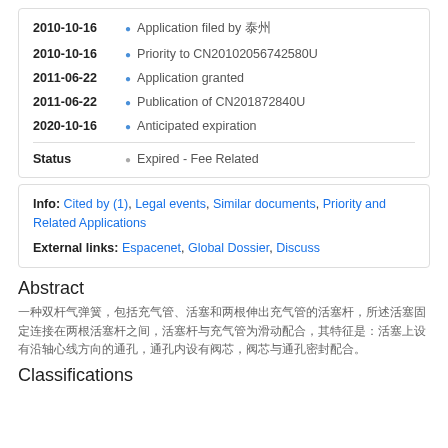2010-10-16 • Application filed by 泰州
2010-10-16 • Priority to CN20102056742580U
2011-06-22 • Application granted
2011-06-22 • Publication of CN201872840U
2020-10-16 • Anticipated expiration
Status • Expired - Fee Related
Info: Cited by (1), Legal events, Similar documents, Priority and Related Applications
External links: Espacenet, Global Dossier, Discuss
Abstract
[Chinese abstract text]
Classifications